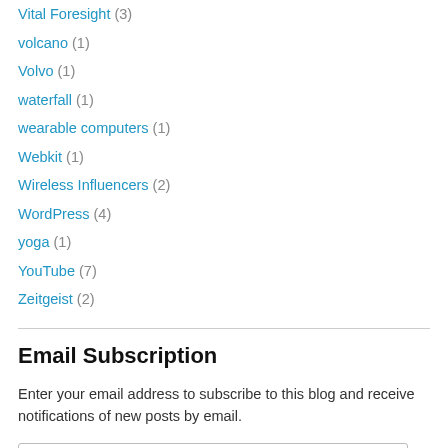Vital Foresight (3)
volcano (1)
Volvo (1)
waterfall (1)
wearable computers (1)
Webkit (1)
Wireless Influencers (2)
WordPress (4)
yoga (1)
YouTube (7)
Zeitgeist (2)
Email Subscription
Enter your email address to subscribe to this blog and receive notifications of new posts by email.